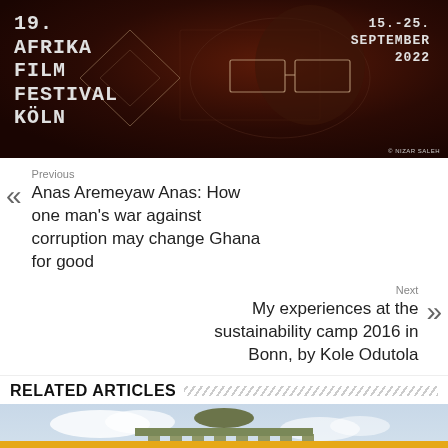[Figure (photo): 19. Afrika Film Festival Köln banner image with a person wearing geometric wire-frame glasses, dark warm toned background. Left text: '19. AFRIKA FILM FESTIVAL KÖLN', right text: '15.-25. SEPTEMBER 2022']
Previous
Anas Aremeyaw Anas: How one man's war against corruption may change Ghana for good
Next
My experiences at the sustainability camp 2016 in Bonn, by Kole Odutola
RELATED ARTICLES
[Figure (photo): Thumbnail of Brandenburg Gate monument against a cloudy sky]